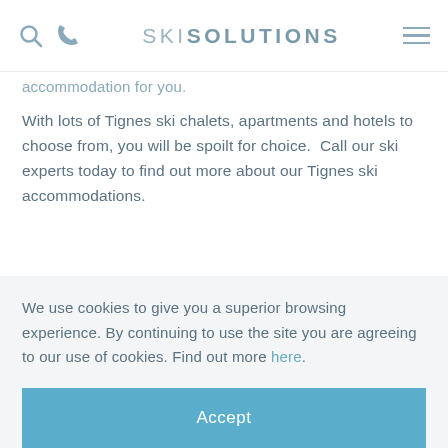SKI SOLUTIONS
accommodation for you.
With lots of Tignes ski chalets, apartments and hotels to choose from, you will be spoilt for choice. Call our ski experts today to find out more about our Tignes ski accommodations.
We have 80 accommodations in Tignes.
We use cookies to give you a superior browsing experience. By continuing to use the site you are agreeing to our use of cookies. Find out more here.